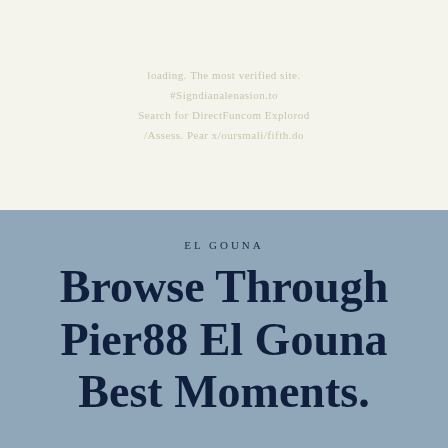loading. The most verified site.
#Signdianalenasion.to
Search for DirectFuncom Explorod
/Assess. Pear x/oursmali/fifth.do
EL GOUNA
Browse Through Pier88 El Gouna Best Moments.